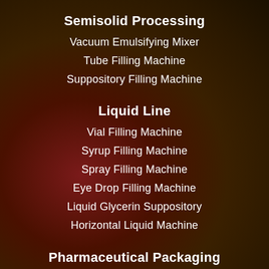Semisolid Processing
Vacuum Emulsifying Mixer
Tube Filling Machine
Suppository Filling Machine
Liquid Line
Vial Filling Machine
Syrup Filling Machine
Spray Filling Machine
Eye Drop Filling Machine
Liquid Glycerin Suppository
Horizontal Liquid Machine
Pharmaceutical Packaging